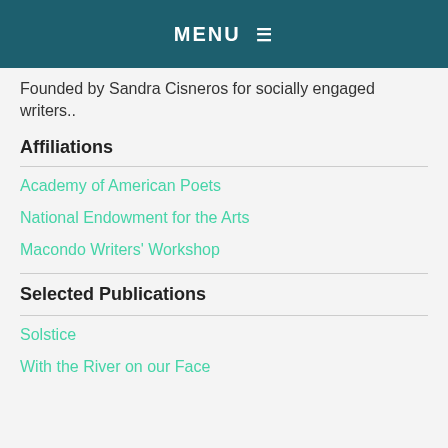MENU ≡
Founded by Sandra Cisneros for socially engaged writers..
Affiliations
Academy of American Poets
National Endowment for the Arts
Macondo Writers' Workshop
Selected Publications
Solstice
With the River on our Face